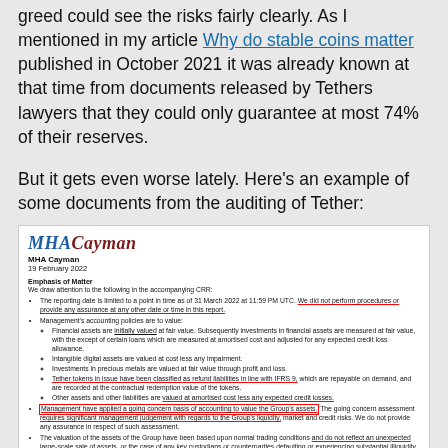greed could see the risks fairly clearly. As I mentioned in my article Why do stable coins matter published in October 2021 it was already known at that time from documents released by Tethers lawyers that they could only guarantee at most 74% of their reserves.
But it gets even worse lately. Here's an example of some documents from the auditing of Tether:
[Figure (screenshot): Screenshot of MHA Cayman auditing document dated 19 February 2022, showing Emphasis of Matter section with bullet points about reporting date, management accounting policies, going concern basis, and asset valuation. Several passages are underlined in red and one sentence is boxed in red.]